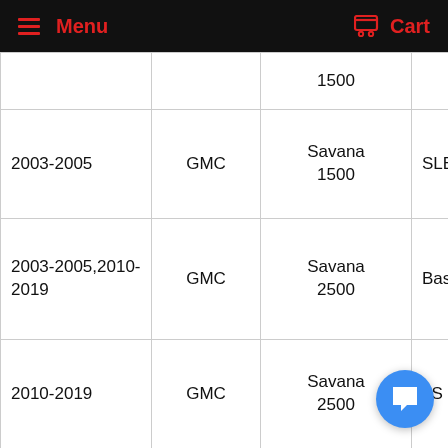Menu | Cart
| Year | Make | Model | Trim |
| --- | --- | --- | --- |
|  |  | 1500 |  |
| 2003-2005 | GMC | Savana 1500 | SLE |
| 2003-2005,2010-2019 | GMC | Savana 2500 | Base |
| 2010-2019 | GMC | Savana 2500 | LS |
| 2010-2019 | GMC | Savana 2500 | LT |
| 2003-2005 | GMC | Savana | SLE |